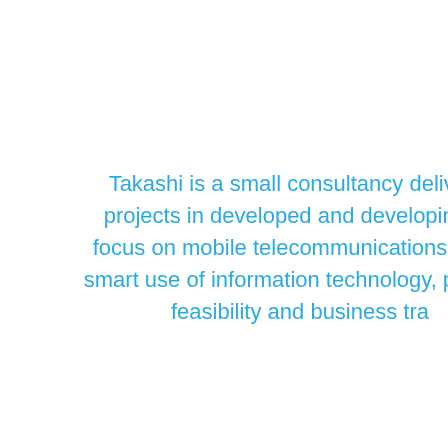Takashi is a small consultancy delivering projects in developed and developing co... focus on mobile telecommunications, finan... smart use of information technology, product... feasibility and business tra...